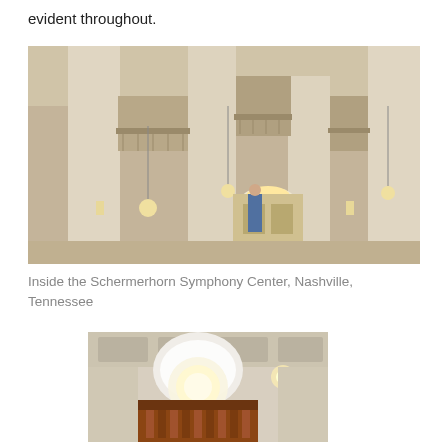evident throughout.
[Figure (photo): Interior of Schermerhorn Symphony Center showing tall columns, balconies with railings, pendant light fixtures, and a doorway with warm lighting.]
Inside the Schermerhorn Symphony Center, Nashville, Tennessee
[Figure (photo): Interior view of the Schermerhorn Symphony Center showing a large chandelier, ornate ceiling with coffered panels, and what appears to be an organ or decorative woodwork structure.]